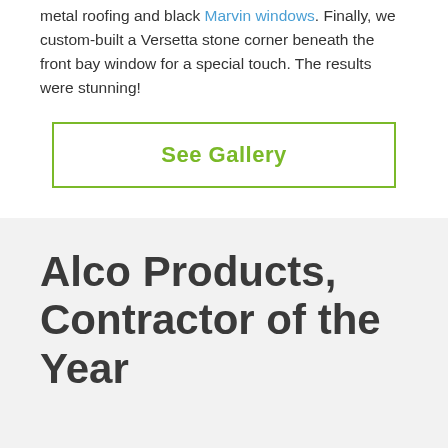metal roofing and black Marvin windows. Finally, we custom-built a Versetta stone corner beneath the front bay window for a special touch. The results were stunning!
See Gallery
Alco Products, Contractor of the Year